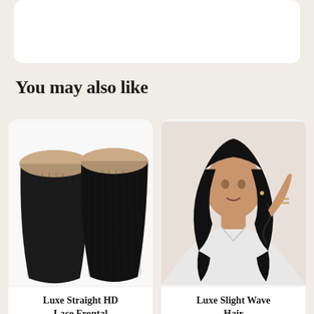[Figure (other): Top portion of a product page card, partially visible at the top of the screen]
You may also like
[Figure (photo): Two black straight hair lace frontal pieces displayed side by side on white background]
Luxe Straight HD Lace Frontal
[Figure (photo): Woman with long wavy black hair wearing white top, modeling hair extensions]
Luxe Slight Wave Hair